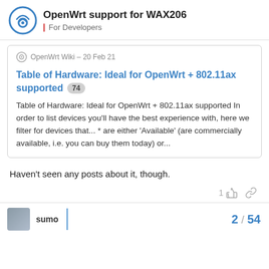OpenWrt support for WAX206 — For Developers
OpenWrt Wiki – 20 Feb 21
Table of Hardware: Ideal for OpenWrt + 802.11ax supported 74
Table of Hardware: Ideal for OpenWrt + 802.11ax supported In order to list devices you'll have the best experience with, here we filter for devices that... * are either 'Available' (are commercially available, i.e. you can buy them today) or...
Haven't seen any posts about it, though.
1
sumo  2 / 54